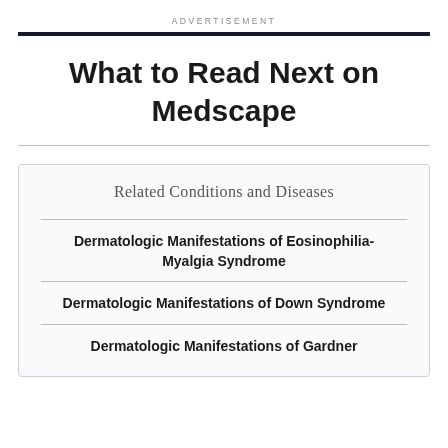ADVERTISEMENT
What to Read Next on Medscape
Related Conditions and Diseases
Dermatologic Manifestations of Eosinophilia-Myalgia Syndrome
Dermatologic Manifestations of Down Syndrome
Dermatologic Manifestations of Gardner